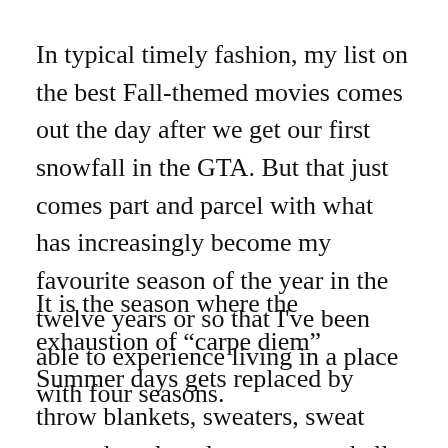In typical timely fashion, my list on the best Fall-themed movies comes out the day after we get our first snowfall in the GTA. But that just comes part and parcel with what has increasingly become my favourite season of the year in the twelve years or so that I've been able to experience living in a place with four seasons.
It is the season where the exhaustion of “carpe diem” Summer days gets replaced by throw blankets, sweaters, sweat pants, hot chocolate, soup, and all things warm